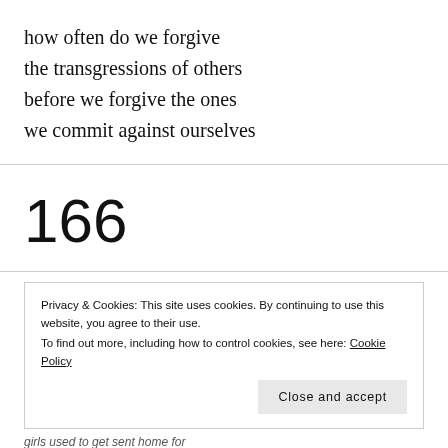how often do we forgive
the transgressions of others
before we forgive the ones
we commit against ourselves
166
Privacy & Cookies: This site uses cookies. By continuing to use this website, you agree to their use.
To find out more, including how to control cookies, see here: Cookie Policy
Close and accept
girls used to get sent home for